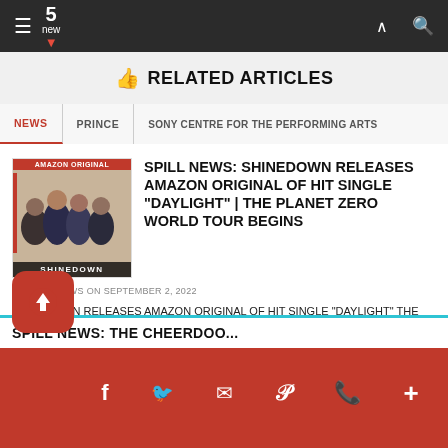5 new
RELATED ARTICLES
NEWS
PRINCE
SONY CENTRE FOR THE PERFORMING ARTS
SPILL NEWS: SHINEDOWN RELEASES AMAZON ORIGINAL OF HIT SINGLE “DAYLIGHT” | THE PLANET ZERO WORLD TOUR BEGINS
BY SPILL NEWS ON SEPTEMBER 2, 2022
SHINEDOWN RELEASES AMAZON ORIGINAL OF HIT SINGLE “DAYLIGHT” THE PLANET ZERO WORLD TOUR BEGINS Multi-platinum, [...]
SPILL NEWS: THE CHEERDOO...
0 SHARES